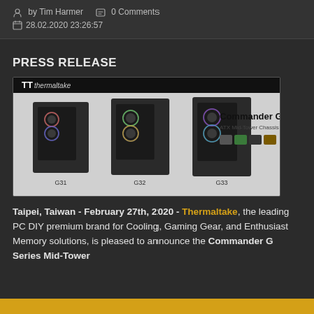by Tim Harmer | 0 Comments | 28.02.2020 23:26:57
PRESS RELEASE
[Figure (photo): Thermaltake Commander G Series ATX Mid-Tower Chassis product banner showing three black PC cases (G31, G32, G33) with RGB fans and the Thermaltake logo.]
Taipei, Taiwan - February 27th, 2020 - Thermaltake, the leading PC DIY premium brand for Cooling, Gaming Gear, and Enthusiast Memory solutions, is pleased to announce the Commander G Series Mid-Tower